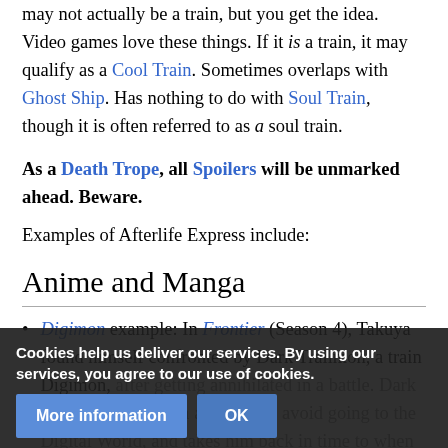may not actually be a train, but you get the idea. Video games love these things. If it is a train, it may qualify as a Cool Train. Sometimes overlaps with Ghost Ship. Has nothing to do with Soul Train, though it is often referred to as a soul train.
As a Death Trope, all Spoilers will be unmarked ahead. Beware.
Examples of Afterlife Express include:
Anime and Manga
Digimon example: In Frontier (Season 4), Takuya found himself confronted by Dark Trailmon, a train Digimon, after getting annihilated in a battle. Dark Trailmon offers him a chance to avoid going to the Digital World, and takes him back in time to when his journey started. But the catch? H... world as D...
Cookies help us deliver our services. By using our services, you agree to our use of cookies.